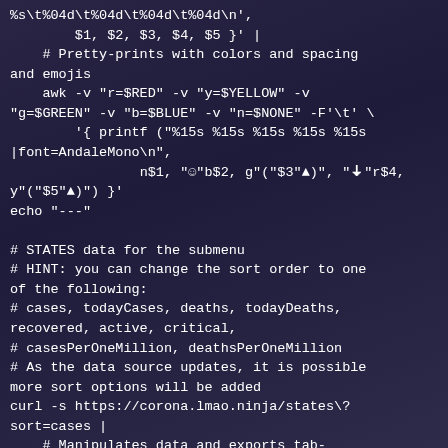%s\t%04d\t%04d\t%04d\t%04d\n',
        $1, $2, $3, $4, $5 }' |
    # Pretty-prints with colors and spacing and emojis
    awk -v "r=$RED" -v "y=$YELLOW" -v "g=$GREEN" -v "b=$BLUE" -v "n=$NONE" -F'\t' \
        '{ printf ("%15s %15s %15s %15s %15s |font=AndaleMono\n",
                n$1, "☺"b$2, g"("$3"▲)", "🠇"r$4, y"("$5"▲)") }'
echo "---"

# STATES data for the submenu
# HINT: you can change the sort order to one of the following:
# cases, todayCases, deaths, todayDeaths, recovered, active, critical,
# casesPerOneMillion, deathsPerOneMillion
# As the data source updates, it is possible more sort options will be added
curl -s https://corona.lmao.ninja/states\?sort=cases |
    # Manipulates data and exports tab-